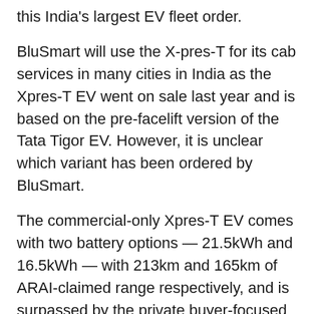this India's largest EV fleet order.
BluSmart will use the X-pres-T for its cab services in many cities in India as the Xpres-T EV went on sale last year and is based on the pre-facelift version of the Tata Tigor EV. However, it is unclear which variant has been ordered by BluSmart.
The commercial-only Xpres-T EV comes with two battery options — 21.5kWh and 16.5kWh — with 213km and 165km of ARAI-claimed range respectively, and is surpassed by the private buyer-focused Tigor EV that sports 306km of claimed range.
While the Xpres-T is the brand's first dedicated all-electric vehicle for fleet operators, Tata Motors is expected to introduce more models under the Xpres brand in future.
As far as all-electric passenger vehicles go, Tata Motors has taken the lead with the Nexon EV, which is the best selling